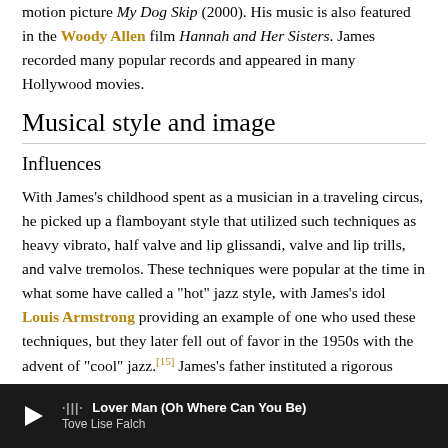motion picture My Dog Skip (2000). His music is also featured in the Woody Allen film Hannah and Her Sisters. James recorded many popular records and appeared in many Hollywood movies.
Musical style and image
Influences
With James's childhood spent as a musician in a traveling circus, he picked up a flamboyant style that utilized such techniques as heavy vibrato, half valve and lip glissandi, valve and lip trills, and valve tremolos. These techniques were popular at the time in what some have called a "hot" jazz style, with James's idol Louis Armstrong providing an example of one who used these techniques, but they later fell out of favor in the 1950s with the advent of "cool" jazz.[15] James's father instituted a rigorous regime of practice for James as a child, and this allowed James to achieve exceptional technical...
▶ Lover Man (Oh Where Can You Be) — Tove Lise Falch